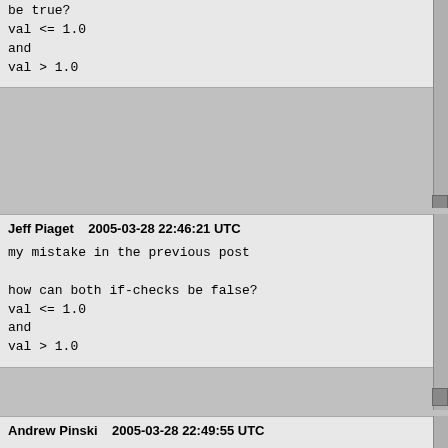be true?
val <= 1.0
and
val > 1.0
Jeff Piaget    2005-03-28 22:46:21 UTC

my mistake in the previous post

how can both if-checks be false?
val <= 1.0
and
val > 1.0
Andrew Pinski    2005-03-28 22:49:55 UTC

(In reply to comment #6)
> I tried this on a 64-bit system, and noticed I nee
> the error (this was on an older gcc level, though.

Well considering x86_64 uses the sse register math b doubt that it would
be effect that.  I would try it on a sane target fir no excusive precission.

Oh the reason is because one checks before the preci